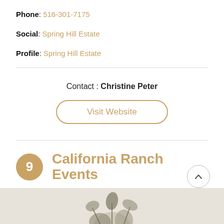Phone: 516-301-7175
Social: Spring Hill Estate
Profile: Spring Hill Estate
Contact : Christine Peter
Visit Website
9 California Ranch Events
[Figure (photo): Bottom decorative image of plants/foliage on a light beige background]